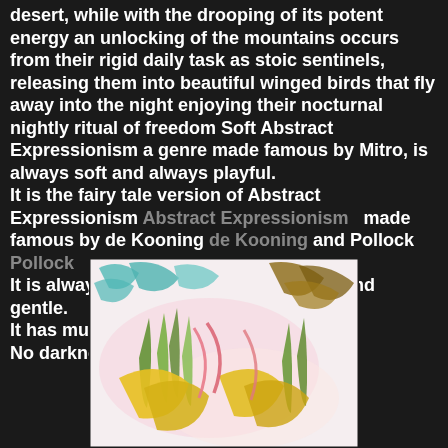desert, while with the drooping of its potent energy an unlocking of the mountains occurs from their rigid daily task as stoic sentinels, releasing them into beautiful winged birds that fly away into the night enjoying their nocturnal nightly ritual of freedom Soft Abstract Expressionism a genre made famous by Mitro, is always soft and always playful.
It is the fairy tale version of Abstract Expressionism Abstract Expressionism   made famous by de Kooning de Kooning and Pollock Pollock
It is always good and  kind and playful and gentle.
It has much positive energy in it.
No darkness..+
[Figure (illustration): A colorful abstract expressionist painting with loose brushstrokes in teal, blue, yellow, green, pink and brown on a white/light background, reminiscent of birds or foliage in a soft, playful style.]